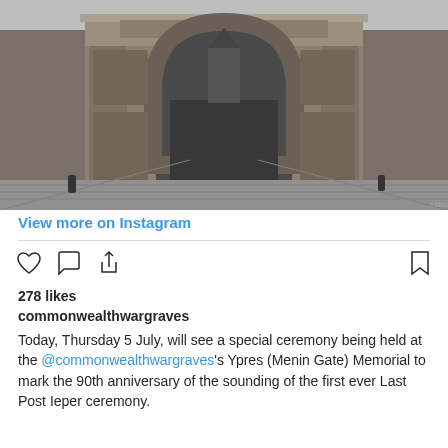[Figure (photo): Black and white photograph of the Menin Gate (Ypres/Ieper) memorial, a large Roman arch with ornate stonework and brick wings, viewed head-on from the road. Through the arch, a Gothic church tower is visible in the background. A cobblestone approach leads to the gate, and a few small figures are visible near the base.]
View more on Instagram
278 likes
commonwealthwargraves
Today, Thursday 5 July, will see a special ceremony being held at the @commonwealthwargraves's Ypres (Menin Gate) Memorial to mark the 90th anniversary of the sounding of the first ever Last Post Ieper ceremony.